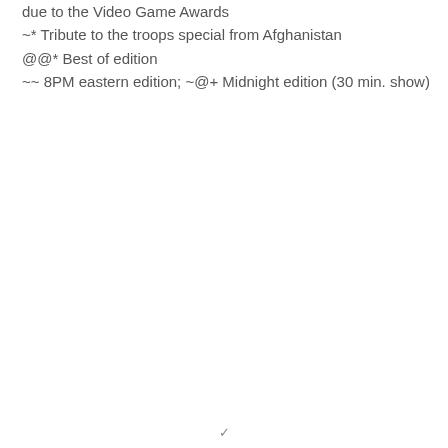due to the Video Game Awards
~* Tribute to the troops special from Afghanistan
@@* Best of edition
~~ 8PM eastern edition; ~@+ Midnight edition (30 min. show)